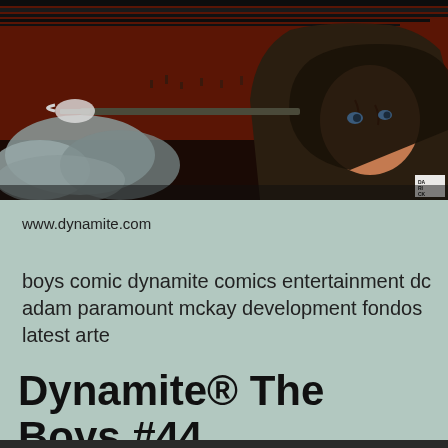[Figure (illustration): Comic book cover art showing a battle-scarred soldier/character in dark clothing holding a rifle, with smoke and chaos in the background. Signed 'DARICK 2011' in upper right corner. Dark, gritty artwork with reddish-brown tones.]
www.dynamite.com
boys comic dynamite comics entertainment dc adam paramount mckay development fondos latest arte
Dynamite® The Boys #44